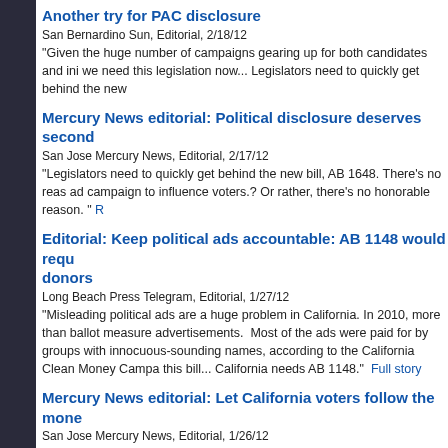Another try for PAC disclosure
San Bernardino Sun, Editorial, 2/18/12
"Given the huge number of campaigns gearing up for both candidates and ini we need this legislation now... Legislators need to quickly get behind the new
Mercury News editorial: Political disclosure deserves second
San Jose Mercury News, Editorial, 2/17/12
"Legislators need to quickly get behind the new bill, AB 1648. There's no reas ad campaign to influence voters.? Or rather, there's no honorable reason. "
Editorial: Keep political ads accountable: AB 1148 would requ donors
Long Beach Press Telegram, Editorial, 1/27/12
"Misleading political ads are a huge problem in California. In 2010, more than ballot measure advertisements.  Most of the ads were paid for by groups with innocuous-sounding names, according to the California Clean Money Campa this bill... California needs AB 1148."
Mercury News editorial: Let California voters follow the mone
San Jose Mercury News, Editorial, 1/26/12
"Opposition is strong from moneyed interests that would prefer to anonymous like.  Lawmakers need to stand up for what's right...  legislators need to come transparency."
Editorial: Telling the truth about sources of campaign cash
Ventura County Star, Editorial, 1/25/12